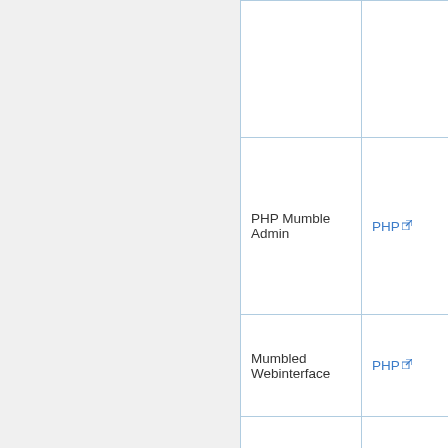| Name | Language | License |
| --- | --- | --- |
|  |  |  |
| PHP Mumble Admin | PHP | GPL |
| Mumbled Webinterface | PHP | GPL |
| MyMumb-Panel | PHP | GPL |